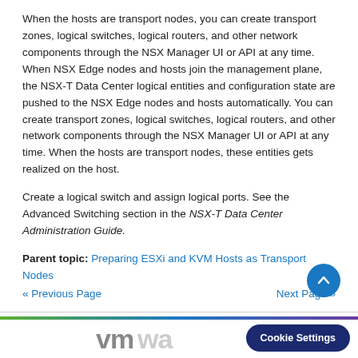When the hosts are transport nodes, you can create transport zones, logical switches, logical routers, and other network components through the NSX Manager UI or API at any time. When NSX Edge nodes and hosts join the management plane, the NSX-T Data Center logical entities and configuration state are pushed to the NSX Edge nodes and hosts automatically. You can create transport zones, logical switches, logical routers, and other network components through the NSX Manager UI or API at any time. When the hosts are transport nodes, these entities gets realized on the host.
Create a logical switch and assign logical ports. See the Advanced Switching section in the NSX-T Data Center Administration Guide.
Parent topic: Preparing ESXi and KVM Hosts as Transport Nodes
« Previous Page   Next Page »
[Figure (logo): VMware logo at the bottom of the page]